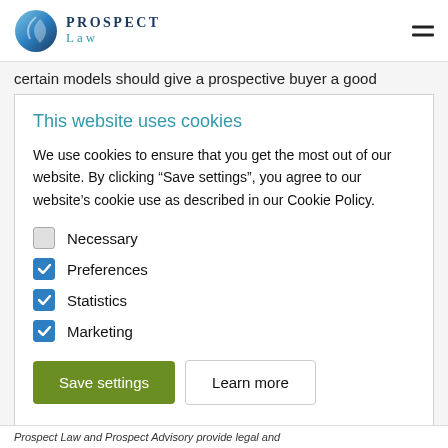PROSPECT LAW
certain models should give a prospective buyer a good
This website uses cookies
We use cookies to ensure that you get the most out of our website. By clicking “Save settings”, you agree to our website’s cookie use as described in our Cookie Policy.
Necessary
Preferences
Statistics
Marketing
Save settings   Learn more
Prospect Law and Prospect Advisory provide legal and